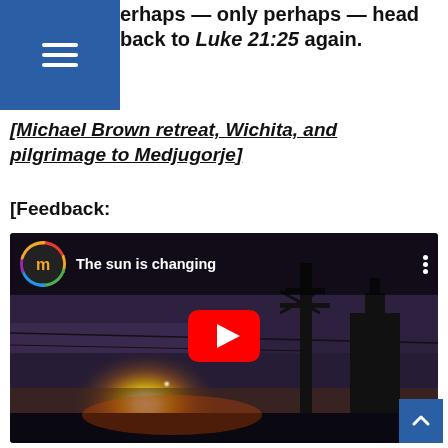erhaps — only perhaps — head back to Luke 21:25 again.
[Michael Brown retreat, Wichita, and pilgrimage to Medjugorje]
[Feedback:
[Figure (screenshot): YouTube video thumbnail showing 'The sun is changing' with a bright sun and industrial silhouette, with a red YouTube play button in the center. The video is from a channel with an 'm' logo.]